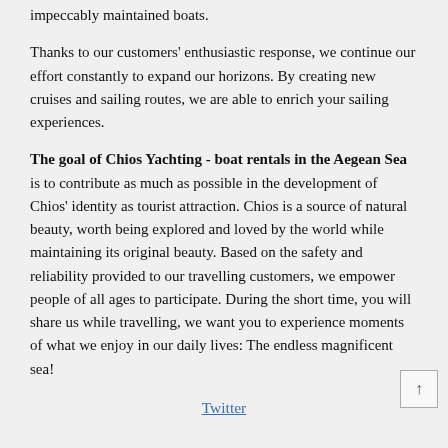impeccably maintained boats.
Thanks to our customers' enthusiastic response, we continue our effort constantly to expand our horizons. By creating new cruises and sailing routes, we are able to enrich your sailing experiences.
The goal of Chios Yachting - boat rentals in the Aegean Sea is to contribute as much as possible in the development of Chios' identity as tourist attraction. Chios is a source of natural beauty, worth being explored and loved by the world while maintaining its original beauty. Based on the safety and reliability provided to our travelling customers, we empower people of all ages to participate. During the short time, you will share us while travelling, we want you to experience moments of what we enjoy in our daily lives: The endless magnificent sea!
Twitter